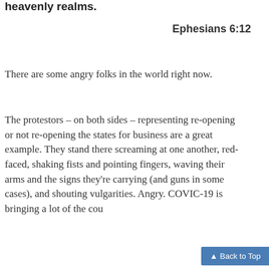heavenly realms.
Ephesians 6:12
There are some angry folks in the world right now.
The protestors – on both sides – representing re-opening or not re-opening the states for business are a great example. They stand there screaming at one another, red-faced, shaking fists and pointing fingers, waving their arms and the signs they're carrying (and guns in some cases), and shouting vulgarities. Angry. COVIC-19 is bringing a lot of the cou...